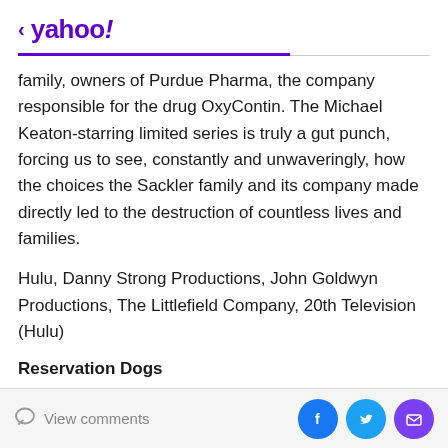< yahoo!
family, owners of Purdue Pharma, the company responsible for the drug OxyContin. The Michael Keaton-starring limited series is truly a gut punch, forcing us to see, constantly and unwaveringly, how the choices the Sackler family and its company made directly led to the destruction of countless lives and families.
Hulu, Danny Strong Productions, John Goldwyn Productions, The Littlefield Company, 20th Television (Hulu)
Reservation Dogs
Reservation Dogs follows the scrappy adventures of four
View comments